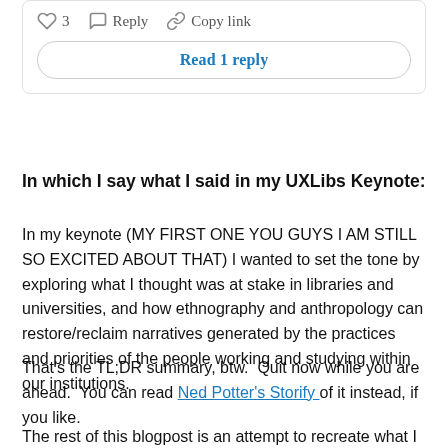[Figure (screenshot): Comment interaction bar with heart icon showing '3', reply icon with 'Reply' text, and link icon with 'Copy link' text, followed by a 'Read 1 reply' button in a rounded rectangle box]
In which I say what I said in my UXLibs Keynote:
In my keynote (MY FIRST ONE YOU GUYS I AM STILL SO EXCITED ABOUT THAT) I wanted to set the tone by exploring what I thought was at stake in libraries and universities, and how ethnography and anthropology can restore/reclaim narratives generated by the practices and priorities of the people working and studying within our institutions.
That's the TL;DR summary, btw.  Quit now while you are ahead.  You can read Ned Potter's Storify of it instead, if you like.
The rest of this blogpost is an attempt to recreate what I said